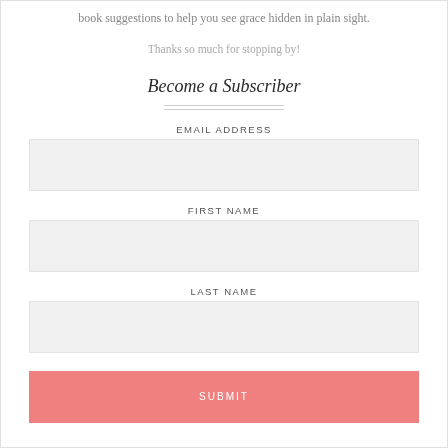book suggestions to help you see grace hidden in plain sight.
Thanks so much for stopping by!
Become a Subscriber
EMAIL ADDRESS
FIRST NAME
LAST NAME
SUBMIT